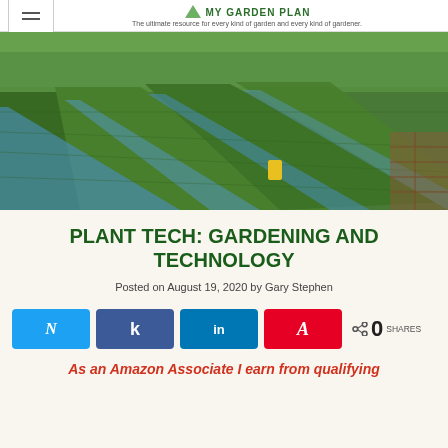The ultimate resource for every kind of garden and every kind of gardener.
[Figure (photo): Aerial view of long hydroponic growing trays filled with dense green leafy plants, with blue channel borders, inside a large greenhouse or outdoor facility.]
PLANT TECH: GARDENING AND TECHNOLOGY
Posted on August 19, 2020 by Gary Stephen
[Figure (infographic): Social media share buttons: Twitter (blue), Facebook share (dark blue), LinkedIn (medium blue), Pinterest (red), plus a share icon with 0 SHARES count.]
As an Amazon Associate I earn from qualifying